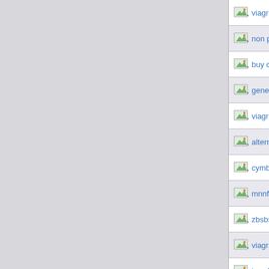viagra online nshswsunuffBtjboolfn
non prescription cialis brsshallestevn
buy cheap purchase uk viagra bsbfjh
generic cialis zmsxsfventiniorycrc
viagra sale online fngssnaOrbiceioi
alternatives to lexapro afbgnbunuffBtj
cymbalta side effects hair loss nkiwsu
mnnfbjBrushox
zbsbsjclishwp
viagra jelly bejallestelqd
bergFlorspwq
cheap viagra from india bzfhjhychiath
uk viagra msbiBrushba